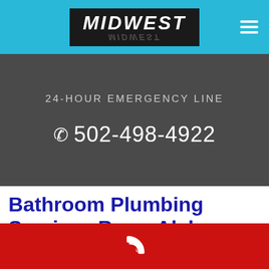MIDWEST
24-HOUR EMERGENCY LINE
502-498-4922
Bathroom Plumbing Services Berry Alabama
[Figure (logo): White phone handset icon on red bar at bottom of page]